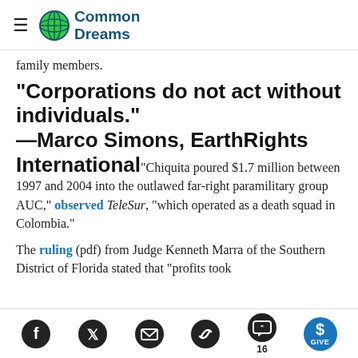Common Dreams
family members.
"Corporations do not act without individuals." —Marco Simons, EarthRights International"Chiquita poured $1.7 million between 1997 and 2004 into the outlawed far-right paramilitary group AUC," observed TeleSur, "which operated as a death squad in Colombia."
The ruling (pdf) from Judge Kenneth Marra of the Southern District of Florida stated that "profits took
Social share icons: Facebook, Twitter, Email, Link, Comments (16), Give